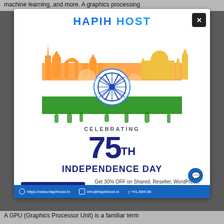machine learning, and more. A graphics processing
[Figure (illustration): Hapih Host Independence Day promotional ad with Indian flag-themed skyline artwork, Ashoka Chakra, and celebration text]
HAPIH HOST
CELEBRATING
75TH INDEPENDENCE DAY
USE CODE: 15AUG
Get 30% OFF on Shared, Reseller, WordPress, Magento, Ecommerce, Woocomerce Hosting
https://www.hapihhost.in   info@hapihhost.in   +91-889-06
A GPU (Graphics Processor Unit) is a familiar term